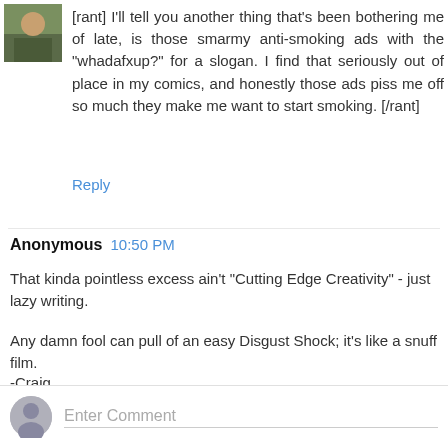[rant] I'll tell you another thing that's been bothering me of late, is those smarmy anti-smoking ads with the "whadafxup?" for a slogan. I find that seriously out of place in my comics, and honestly those ads piss me off so much they make me want to start smoking. [/rant]
Reply
Anonymous  10:50 PM
That kinda pointless excess ain't "Cutting Edge Creativity" - just lazy writing.
Any damn fool can pull of an easy Disgust Shock; it's like a snuff film.
-Craig
Reply
Enter Comment